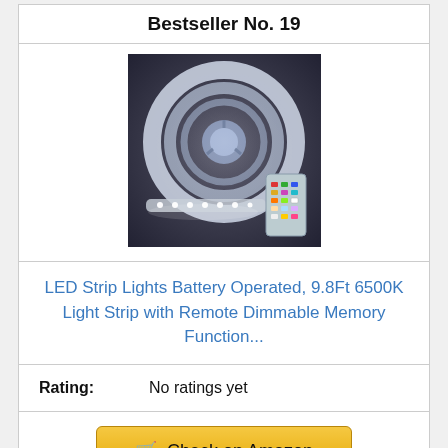Bestseller No. 19
[Figure (photo): Photo of LED strip lights coiled on a reel with a small remote control, lit white LEDs visible, dark background]
LED Strip Lights Battery Operated, 9.8Ft 6500K Light Strip with Remote Dimmable Memory Function...
Rating: No ratings yet
Check on Amazon